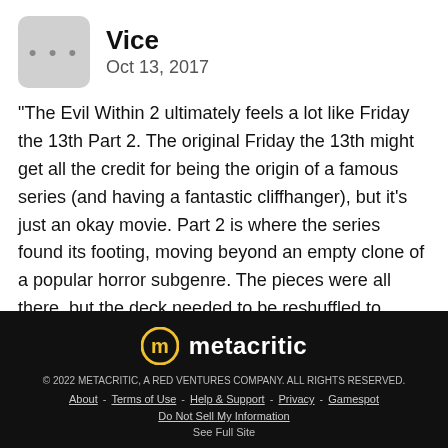Vice
Oct 13, 2017
"The Evil Within 2 ultimately feels a lot like Friday the 13th Part 2. The original Friday the 13th might get all the credit for being the origin of a famous series (and having a fantastic cliffhanger), but it's just an okay movie. Part 2 is where the series found its footing, moving beyond an empty clone of a popular horror subgenre. The pieces were all there, but the deck needed to be reshuffled to made it click. The Evil Within 2 clicks." ... Read full review
© 2022 METACRITIC, A RED VENTURES COMPANY. ALL RIGHTS RESERVED.
About - Terms of Use - Help & Support - Privacy - Gamespot
Do Not Sell My Information
See Full Site